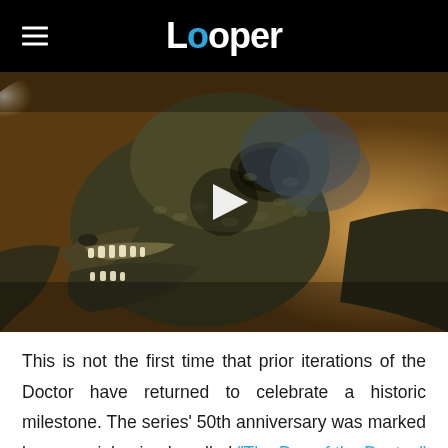Looper
[Figure (screenshot): Video thumbnail showing a close-up of a dinosaur (Velociraptor) head with a play button overlay, from what appears to be a Jurassic World or similar film.]
This is not the first time that prior iterations of the Doctor have returned to celebrate a historic milestone. The series' 50th anniversary was marked by a special episode called "The Day of the Doctor," which brought together the Tenth Doctor, the